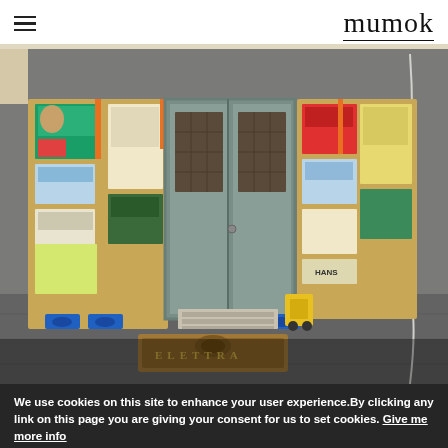mumok
[Figure (photo): Installation view of an artwork at mumok: a large wooden crate-like structure covered in posters and stickers, with a pair of old double doors set into it, placed on blue transport supports. A pallet jack is visible in front, and a worn doormat reading 'ELETTRA' is on the floor. The background is a grey concrete wall. A cord hangs on the right side.]
We use cookies on this site to enhance your user experience.By clicking any link on this page you are giving your consent for us to set cookies. Give me more info
Cookie preferences
Accept all cookies